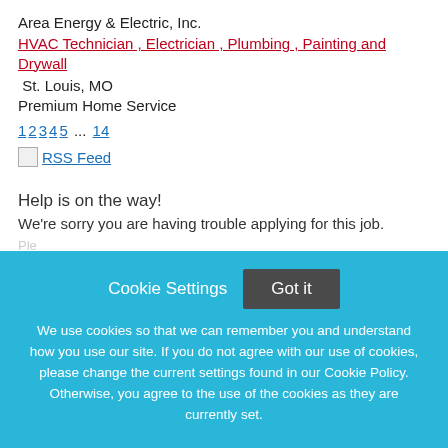Area Energy & Electric, Inc.
HVAC Technician , Electrician , Plumbing , Painting and Drywall
St. Louis, MO
Premium Home Service
1 2 3 4 5 ... 14
[Figure (other): RSS Feed icon image with link text 'RSS Feed']
Help is on the way!
We're sorry you are having trouble applying for this job.
Cookie Settings  Got it
We use cookies so that we can remember you and understand how you use our site. If you do not agree with our use of cookies, please change the current settings found in our Cookie Policy. Otherwise, you agree to the use of the cookies as they are currently set.